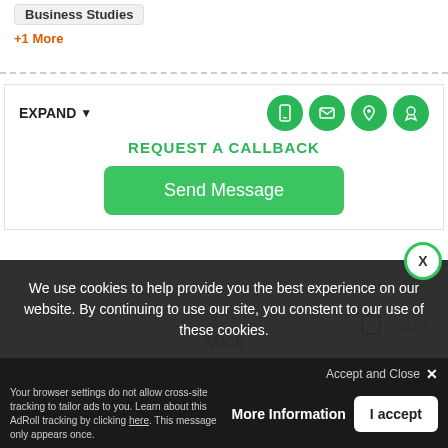Business Studies
+1 More
EXPAND
REQUEST A CALLBACK
Send Message
Mick
We use cookies to help provide you the best experience on our website. By continuing to use our site, you constent to our use of these cookies.
More Information
I accept
Accept and Close
Your browser settings do not allow cross-site tracking to tailor ads to you. Learn about this AdRoll tracking by clicking here. This message only appears once.